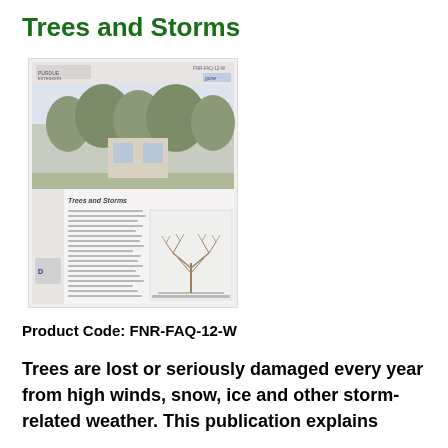Trees and Storms
[Figure (screenshot): Thumbnail image of the 'Trees and Storms' Purdue Extension publication showing a cover photo of trees and interior pages with text and a tree diagram.]
Product Code: FNR-FAQ-12-W
Trees are lost or seriously damaged every year from high winds, snow, ice and other storm-related weather. This publication explains